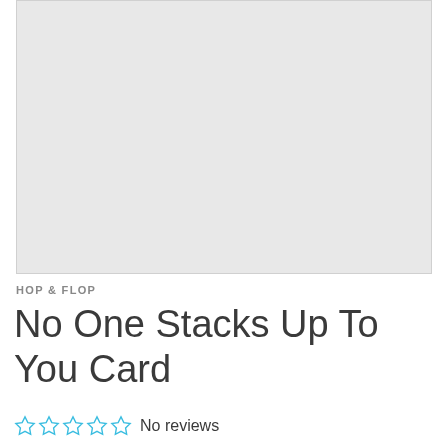[Figure (photo): Light gray rectangular image placeholder area for product photo]
HOP & FLOP
No One Stacks Up To You Card
No reviews